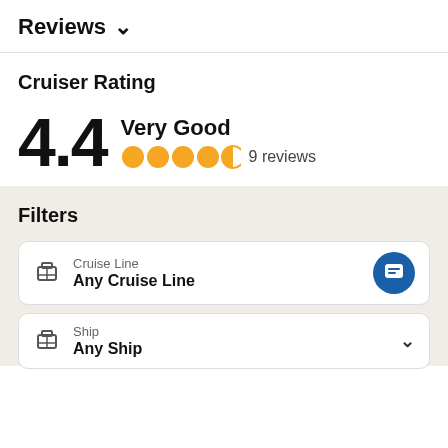Reviews ∨
Cruiser Rating
4.4 Very Good ●●●●◐ 9 reviews
Filters
Cruise Line
Any Cruise Line
Ship
Any Ship